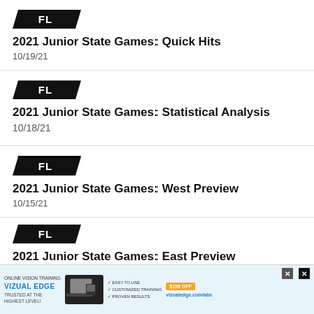[Figure (logo): FL badge logo black parallelogram shape]
2021 Junior State Games: Quick Hits
10/19/21
[Figure (logo): FL badge logo black parallelogram shape]
2021 Junior State Games: Statistical Analysis
10/18/21
[Figure (logo): FL badge logo black parallelogram shape]
2021 Junior State Games: West Preview
10/15/21
[Figure (logo): FL badge logo black parallelogram shape]
2021 Junior State Games: East Preview
10/15/21
[Figure (screenshot): Advertisement banner for Vizual Edge online vision training]